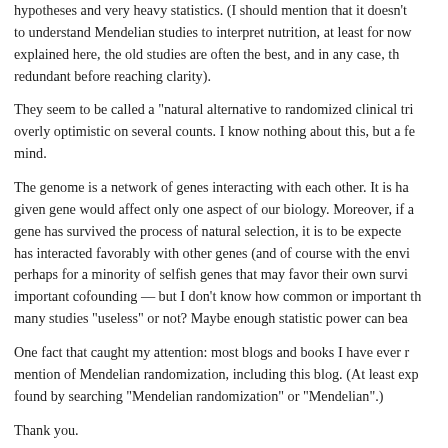hypotheses and very heavy statistics. (I should mention that it doesn't to understand Mendelian studies to interpret nutrition, at least for now explained here, the old studies are often the best, and in any case, the redundant before reaching clarity).
They seem to be called a "natural alternative to randomized clinical tri overly optimistic on several counts. I know nothing about this, but a fe mind.
The genome is a network of genes interacting with each other. It is ha given gene would affect only one aspect of our biology. Moreover, if a gene has survived the process of natural selection, it is to be expecte has interacted favorably with other genes (and of course with the envi perhaps for a minority of selfish genes that may favor their own survi important cofounding — but I don't know how common or important th many studies "useless" or not? Maybe enough statistic power can bea
One fact that caught my attention: most blogs and books I have ever mention of Mendelian randomization, including this blog. (At least exp found by searching "Mendelian randomization" or "Mendelian".)
Thank you.
Best,
Hector
Hector October 23, 2021 at 1:59 pm
By the way, I meant "I'm in my infancy", not actually wearing d 😌